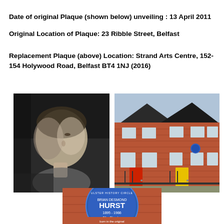Date of original Plaque (shown below) unveiling : 13 April 2011
Original Location of Plaque: 23 Ribble Street, Belfast
Replacement Plaque (above) Location: Strand Arts Centre, 152-154 Holywood Road, Belfast BT4 1NJ (2016)
[Figure (photo): Black and white portrait photo of a man looking upward]
[Figure (photo): Color photo of red brick terraced houses with colorful doors (red and yellow) and a blue heritage plaque visible on the wall]
[Figure (photo): Blue circular Ulster History Circle plaque reading 'BRIAN DESMOND HURST 1895-1986 Film Director born in the original...']